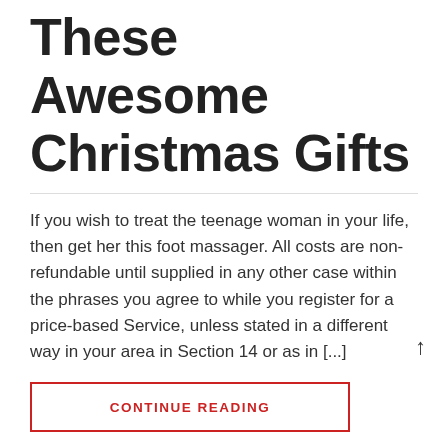These Awesome Christmas Gifts
If you wish to treat the teenage woman in your life, then get her this foot massager. All costs are non-refundable until supplied in any other case within the phrases you agree to while you register for a price-based Service, unless stated in a different way in your area in Section 14 or as in [...]
CONTINUE READING
Posted On : January 29, 2021   Published By : Anna Shvets